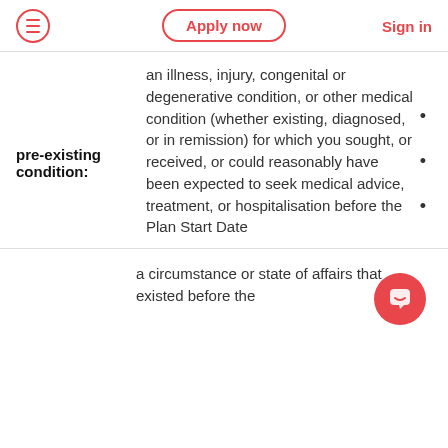Apply now  Sign in
pre-existing condition:  an illness, injury, congenital or degenerative condition, or other medical condition (whether existing, diagnosed, or in remission) for which you sought, or received, or could reasonably have been expected to seek medical advice, treatment, or hospitalisation before the Plan Start Date
a circumstance or state of affairs that existed before the